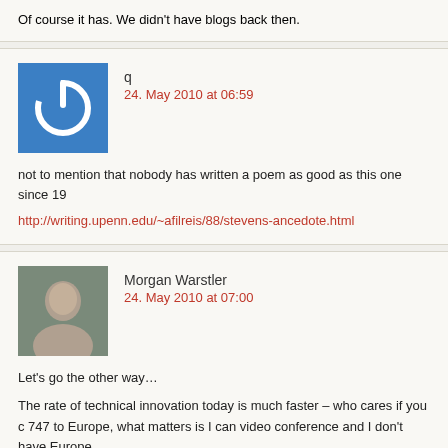Of course it has. We didn't have blogs back then.
q
24. May 2010 at 06:59
not to mention that nobody has written a poem as good as this one since 19
http://writing.upenn.edu/~afilreis/88/stevens-ancedote.html
Morgan Warstler
24. May 2010 at 07:00
Let's go the other way…
The rate of technical innovation today is much faster – who cares if you c 747 to Europe, what matters is I can video conference and I don't have Europe.
The moving of the atomic is brutal and becoming meaningless. And emphasis on it out weighs the body when the mind is just getting started. F aqueduct to the toilet took how long? From teepee to skyscraper took how l